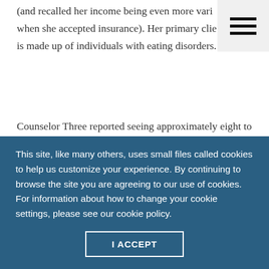(and recalled her income being even more vari when she accepted insurance). Her primary clie is made up of individuals with eating disorders.
Counselor Three reported seeing approximately eight to 12 clients per week on alternating weeks outside of his full-time job with an independent school district. In his private practice, approximately 75 percent of his clients are couples and families, whereas the remaining clients are individuals. He
This site, like many others, uses small files called cookies to help us customize your experience. By continuing to browse the site you are agreeing to our use of cookies. For information about how to change your cookie settings, please see our cookie policy.
I ACCEPT